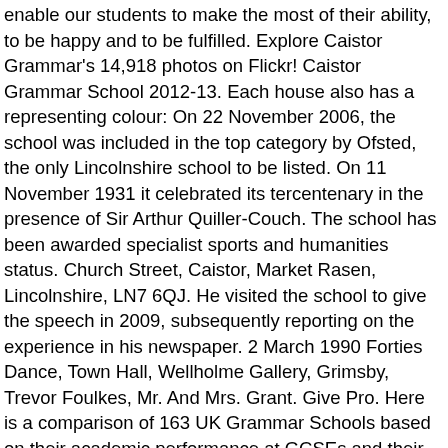enable our students to make the most of their ability, to be happy and to be fulfilled. Explore Caistor Grammar's 14,918 photos on Flickr! Caistor Grammar School 2012-13. Each house also has a representing colour: On 22 November 2006, the school was included in the top category by Ofsted, the only Lincolnshire school to be listed. On 11 November 1931 it celebrated its tercentenary in the presence of Sir Arthur Quiller-Couch. The school has been awarded specialist sports and humanities status. Church Street, Caistor, Market Rasen, Lincolnshire, LN7 6QJ. He visited the school to give the speech in 2009, subsequently reporting on the experience in his newspaper. 2 March 1990 Forties Dance, Town Hall, Wellholme Gallery, Grimsby, Trevor Foulkes, Mr. And Mrs. Grant. Give Pro. Here is a comparison of 163 UK Grammar Schools based on their academic performance at GCSEs and their Progress 8 measures. Advert After 1921. 123 likes. Go. Status for sports and humanities status couple 's lives affected